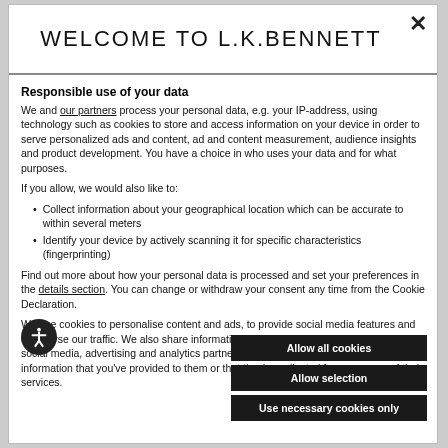WELCOME TO L.K.BENNETT
Responsible use of your data
We and our partners process your personal data, e.g. your IP-address, using technology such as cookies to store and access information on your device in order to serve personalized ads and content, ad and content measurement, audience insights and product development. You have a choice in who uses your data and for what purposes.
If you allow, we would also like to:
Collect information about your geographical location which can be accurate to within several meters
Identify your device by actively scanning it for specific characteristics (fingerprinting)
Find out more about how your personal data is processed and set your preferences in the details section. You can change or withdraw your consent any time from the Cookie Declaration.
We use cookies to personalise content and ads, to provide social media features and to analyse our traffic. We also share information about your use of our site with our social media, advertising and analytics partners who may combine it with other information that you've provided to them or that they've collected from your use of their services.